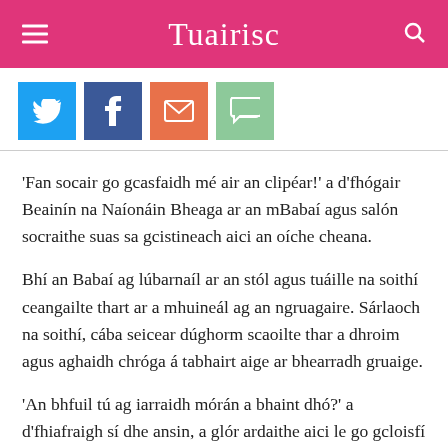Tuairisc
[Figure (other): Social sharing buttons: Twitter (blue), Facebook (dark blue), Email (orange-red), Chat (green)]
'Fan socair go gcasfaidh mé air an clipéar!' a d'fhógair Beainín na Naíonáin Bheaga ar an mBabaí agus salón socraithe suas sa gcistineach aici an oíche cheana.
Bhí an Babaí ag lúbarnaíl ar an stól agus tuáille na soithí ceangailte thart ar a mhuineál ag an ngruagaire. Sárlaoch na soithí, cába seicear dúghorm scaoilte thar a dhroim agus aghaidh chróga á tabhairt aige ar bhearradh gruaige.
'An bhfuil tú ag iarraidh mórán a bhaint dhó?' a d'fhiafraigh sí dhe ansin, a glór ardaithe aici le go gcloisfí í os cionn dordán an deimhis ina láimh.